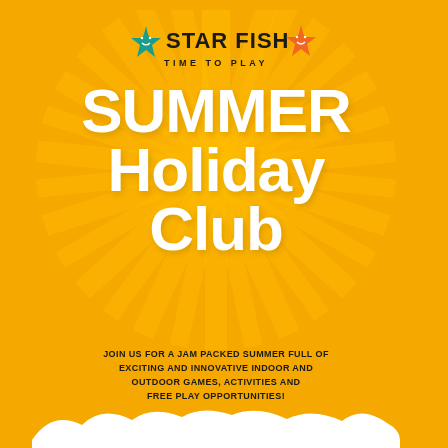[Figure (logo): Starfish Kids Club logo with teal and orange star characters, text STAR FISH TIME TO PLAY]
SUMMER Holiday CLUB
JOIN US FOR A JAM PACKED SUMMER FULL OF EXCITING AND INNOVATIVE INDOOR AND OUTDOOR GAMES, ACTIVITIES AND FREE PLAY OPPORTUNITIES!
25th July - 19th August, 8:30am - 5:30pm  •  £32 per session
St Andrews Primary School, Belfast St, Hove
TO MAKE A BOOKING, PLEASE CONTACT:
INFO@STARFISHKIDSCLUB.CO.UK
Starfish Kids Club:  07941 525291
www.starfishkidsclub.co.uk
We also have some funded places available thanks to funding from Brighton & Hove City Council's Household Support Fund. Families